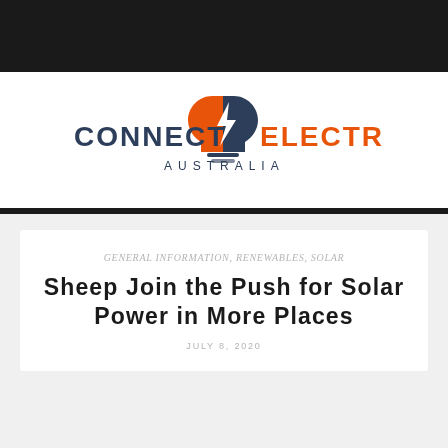[Figure (logo): Connect Electric Australia logo with lightbulb/lightning bolt icon in orange and dark navy, text CONNECT ELECTRIC in large letters with AUSTRALIA below]
GENERAL INFORMATION, RENEWABLES, SOLAR
Sheep Join the Push for Solar Power in More Places
JULY 8, 2020